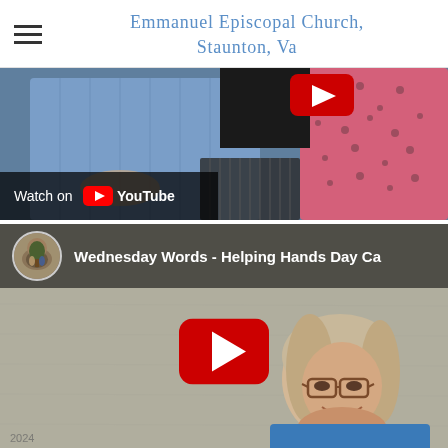Emmanuel Episcopal Church, Staunton, Va
[Figure (screenshot): YouTube embedded video thumbnail showing two people sitting, one in blue striped shirt, one in pink floral dress. 'Watch on YouTube' bar at bottom left.]
[Figure (screenshot): YouTube embedded video thumbnail with title 'Wednesday Words - Helping Hands Day Ca...' and a woman smiling with glasses resting her chin on her hand.]